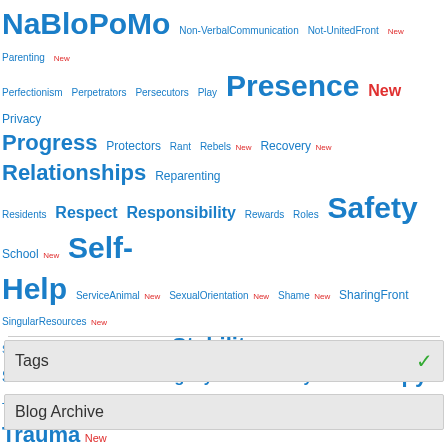[Figure (infographic): Tag cloud with mental health and DID-related blog tags in varying sizes and colors (blue and red), including: NaBloPoMo, Non-VerbalCommunication, Not-UnitedFront, New, Parenting, New, Perfectionism, Perpetrators, Persecutors, Play, Presence, New, Privacy, Progress, Protectors, Rant, Rebels, New, Recovery, New, Relationships, Reparenting, Residents, Respect, Responsibility, Rewards, Roles, Safety, School, New, Self-Help, ServiceAnimal, New, SexualOrientation, New, Shame, New, SharingFront, SingularResources, New, SomaticIssues, New, Spirituality, New, Stability, StealingFront, Stigma, New, Structure, StuckGuests, Switching, SystemsTheory, New, Therapy, TherapyProblems, New, TimeManagementForMultiples, Tools, New, Trauma, New, Triggers, Trust, Unification, New, UnitedFront, Video, Voices, New, Workplace, New, Youngsters, New, Youngsterss, New]
Tags
Blog Archive